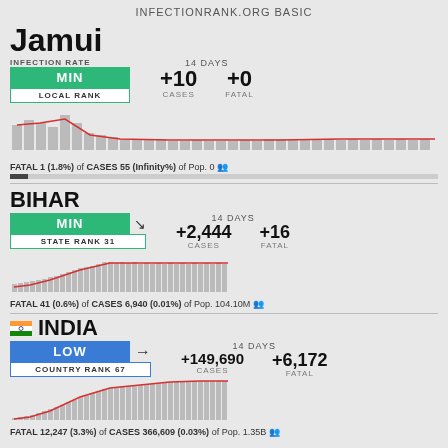INFECTIONRANK.ORG BASIC
Jamui
INFECTION RATE
MIN
LOCAL RANK
14 DAYS +10 CASES +0 FATAL
[Figure (bar-chart): Bar chart with red trend line showing infection cases over time for Jamui]
FATAL 1 (1.8%) of CASES 55 (Infinity%) of Pop. 0
BIHAR
MIN
STATE RANK 31
14 DAYS +2,444 CASES +16 FATAL
[Figure (bar-chart): Bar chart with red trend line showing infection cases over time for Bihar]
FATAL 41 (0.6%) of CASES 6,940 (0.01%) of Pop. 104.10M
INDIA
LOW
COUNTRY RANK 67
14 DAYS +149,690 CASES +6,172 FATAL
[Figure (bar-chart): Bar chart with red trend line showing infection cases over time for India]
FATAL 12,247 (3.3%) of CASES 366,609 (0.03%) of Pop. 1.35B